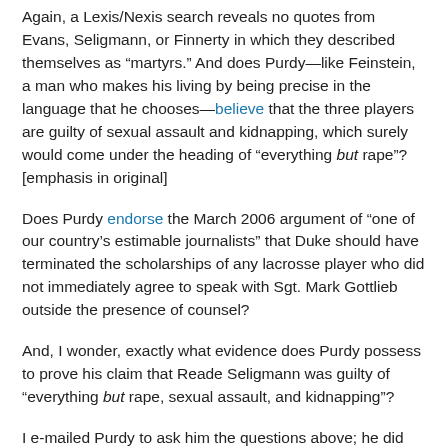Again, a Lexis/Nexis search reveals no quotes from Evans, Seligmann, or Finnerty in which they described themselves as “martyrs.” And does Purdy—like Feinstein, a man who makes his living by being precise in the language that he chooses—believe that the three players are guilty of sexual assault and kidnapping, which surely would come under the heading of “everything but rape”? [emphasis in original]
Does Purdy endorse the March 2006 argument of “one of our country’s estimable journalists” that Duke should have terminated the scholarships of any lacrosse player who did not immediately agree to speak with Sgt. Mark Gottlieb outside the presence of counsel?
And, I wonder, exactly what evidence does Purdy possess to prove his claim that Reade Seligmann was guilty of “everything but rape, sexual assault, and kidnapping”?
I e-mailed Purdy to ask him the questions above; he did not reply. Perhaps, like Hersh, he was ill.
-----------
What can the world Mike Nigg...